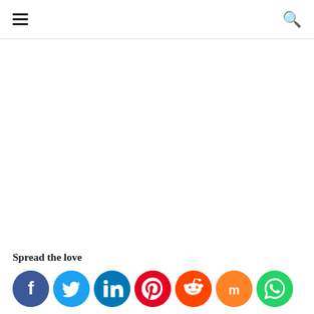Navigation header with hamburger menu and search icon
Spread the love
[Figure (infographic): Row of social media sharing buttons: Facebook (dark blue), Twitter (light blue), LinkedIn (teal/dark blue), Pinterest (red), Reddit (orange-red), Mix (orange), WhatsApp (green)]